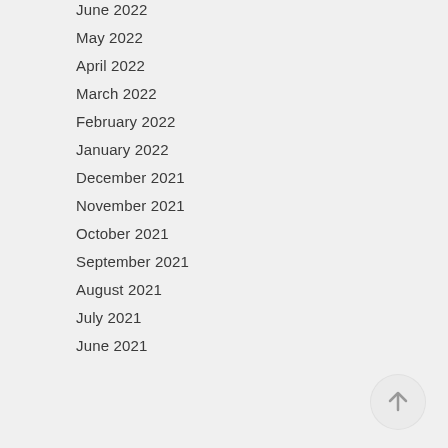June 2022
May 2022
April 2022
March 2022
February 2022
January 2022
December 2021
November 2021
October 2021
September 2021
August 2021
July 2021
June 2021
[Figure (illustration): Circular scroll-to-top button with upward arrow icon, light gray background]